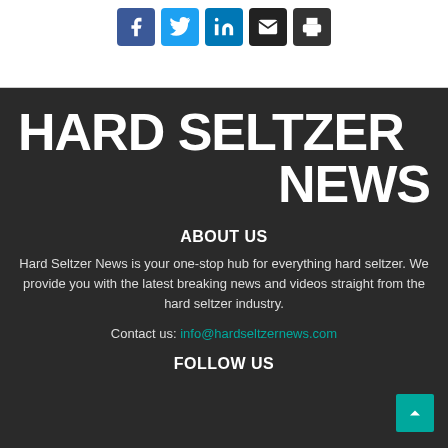[Figure (infographic): Social media sharing icons: Facebook (blue), Twitter (light blue), LinkedIn (blue), Email (black), Print (dark gray)]
HARD SELTZER NEWS
ABOUT US
Hard Seltzer News is your one-stop hub for everything hard seltzer. We provide you with the latest breaking news and videos straight from the hard seltzer industry.
Contact us: info@hardseltzernews.com
FOLLOW US